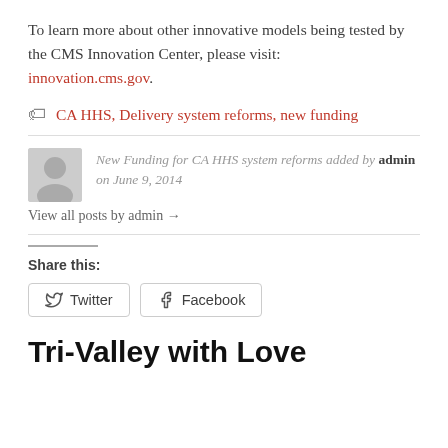To learn more about other innovative models being tested by the CMS Innovation Center, please visit: innovation.cms.gov.
CA HHS, Delivery system reforms, new funding
New Funding for CA HHS system reforms added by admin on June 9, 2014
View all posts by admin →
Share this:
Twitter   Facebook
Tri-Valley with Love